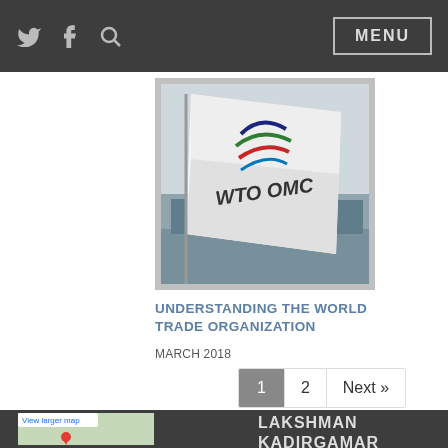Twitter | Facebook | Search | MENU
[Figure (photo): WTO OMC flag waving against a cityscape and sky background, with the WTO logo (colored arcs) and text 'WTO OMC' on a white flag]
UNDERSTANDING THE WORLD TRADE ORGANIZATION
MARCH 2018
1  2  Next »
[Figure (map): Google Maps thumbnail showing 'View larger map' link with a red location pin]
LAKSHMAN KADIRGAMAR